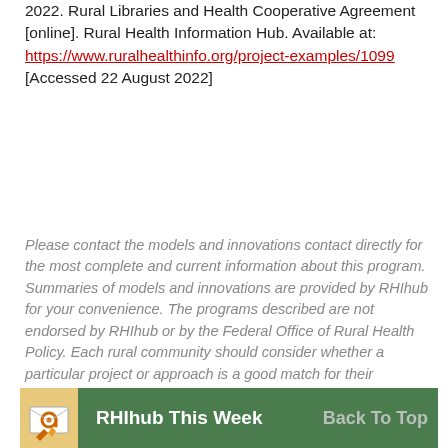2022. Rural Libraries and Health Cooperative Agreement [online]. Rural Health Information Hub. Available at: https://www.ruralhealthinfo.org/project-examples/1099 [Accessed 22 August 2022]
Please contact the models and innovations contact directly for the most complete and current information about this program. Summaries of models and innovations are provided by RHIhub for your convenience. The programs described are not endorsed by RHIhub or by the Federal Office of Rural Health Policy. Each rural community should consider whether a particular project or approach is a good match for their community's needs and capacity. While it is sometimes possible to adapt program components to match your resources, keep in mind that changes to the program design may impact results.
[Figure (infographic): RHIhub This Week banner with email icon on yellow/orange background and green background with Back To Top button on right]